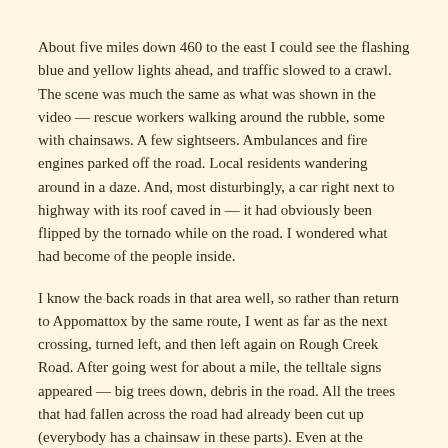About five miles down 460 to the east I could see the flashing blue and yellow lights ahead, and traffic slowed to a crawl. The scene was much the same as what was shown in the video — rescue workers walking around the rubble, some with chainsaws. A few sightseers. Ambulances and fire engines parked off the road. Local residents wandering around in a daze. And, most disturbingly, a car right next to highway with its roof caved in — it had obviously been flipped by the tornado while on the road. I wondered what had become of the people inside.
I know the back roads in that area well, so rather than return to Appomattox by the same route, I went as far as the next crossing, turned left, and then left again on Rough Creek Road. After going west for about a mile, the telltale signs appeared — big trees down, debris in the road. All the trees that had fallen across the road had already been cut up (everybody has a chainsaw in these parts). Even at the epicenter the damage was not as severe — the tornado must have lifted slightly by the time it came through here. A trailer near the path was undamaged.
Back in Appomattox the power was still out, so I headed